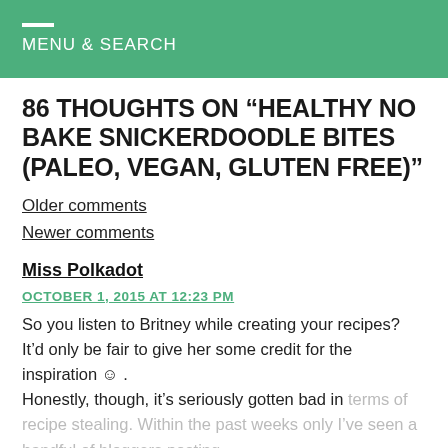MENU & SEARCH
86 THOUGHTS ON “HEALTHY NO BAKE SNICKERDOODLE BITES (PALEO, VEGAN, GLUTEN FREE)”
Older comments
Newer comments
Miss Polkadot
OCTOBER 1, 2015 AT 12:23 PM
So you listen to Britney while creating your recipes? It’d only be fair to give her some credit for the inspiration ☺ . Honestly, though, it’s seriously gotten bad in terms of recipe stealing. Within the past weeks only I’ve seen a handful of bloggers posting